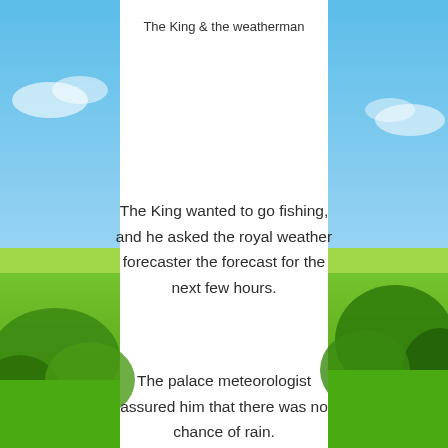[Figure (photo): Background image showing a sunny landscape with blue sky, green grass fields, and trees on the left and right sides. A white vertical panel runs through the center of the image.]
The King & the weatherman
The King wanted to go fishing, and he asked the royal weather forecaster the forecast for the next few hours.
The palace meteorologist assured him that there was no chance of rain.